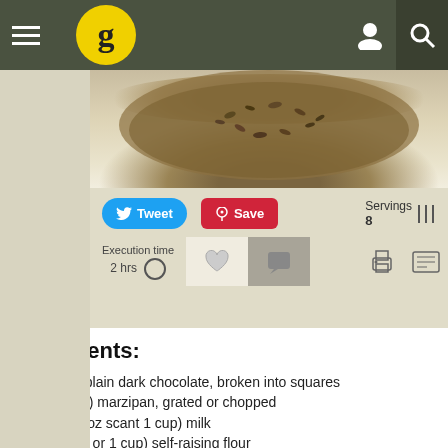g (Gousto logo) — navigation header with menu, logo, user icon, search icon
[Figure (photo): Top-down photo of a dish with seeds/nuts on a light background]
Tweet  Save  Servings 8  Execution time 2 hrs
Ingredients:
50 g (2 oz) plain dark chocolate, broken into squares
200 gr (7 oz) marzipan, grated or chopped
200 ml (7 fl oz scant 1 cup) milk
115 gr  (4 oz or 1 cup) self-raising flour
2 eggs, separated
75 gr (3 oz or 1/2 cup) light muscovado sugar
For the mousse filling
115 gr or 4 oz plain chocolate, chopped into small pie
50 gr (2 oz or 1/4 cup) unsalted butter
2 eggs, separated